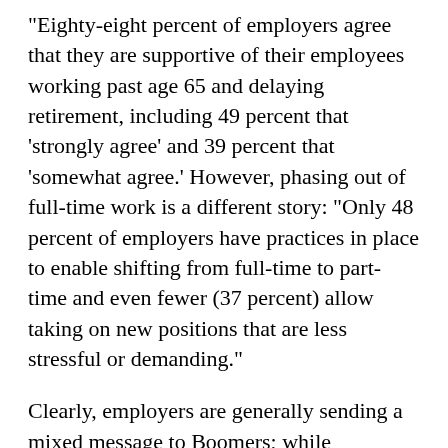"Eighty-eight percent of employers agree that they are supportive of their employees working past age 65 and delaying retirement, including 49 percent that 'strongly agree' and 39 percent that 'somewhat agree.' However, phasing out of full-time work is a different story: "Only 48 percent of employers have practices in place to enable shifting from full-time to part-time and even fewer (37 percent) allow taking on new positions that are less stressful or demanding."
Clearly, employers are generally sending a mixed message to Boomers; while employers are apparently happy to have Boomers continue on a full-time basis, less than half of employers facilitate a transition from full-time to part-time. Bottom line: There is still a